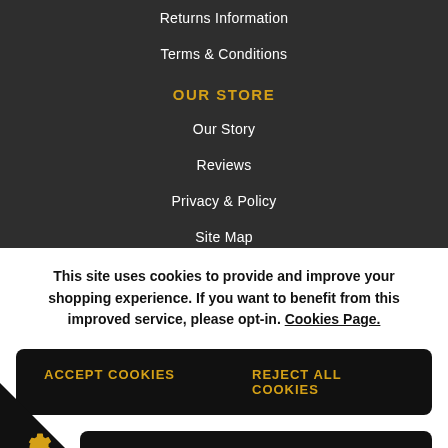Returns Information
Terms & Conditions
OUR STORE
Our Story
Reviews
Privacy & Policy
Site Map
This site uses cookies to provide and improve your shopping experience. If you want to benefit from this improved service, please opt-in. Cookies Page.
ACCEPT COOKIES
REJECT ALL COOKIES
MANAGE PREFERENCES